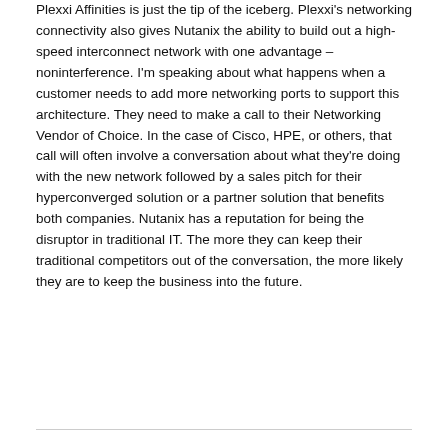Plexxi Affinities is just the tip of the iceberg. Plexxi's networking connectivity also gives Nutanix the ability to build out a high-speed interconnect network with one advantage – noninterference. I'm speaking about what happens when a customer needs to add more networking ports to support this architecture. They need to make a call to their Networking Vendor of Choice. In the case of Cisco, HPE, or others, that call will often involve a conversation about what they're doing with the new network followed by a sales pitch for their hyperconverged solution or a partner solution that benefits both companies. Nutanix has a reputation for being the disruptor in traditional IT. The more they can keep their traditional competitors out of the conversation, the more likely they are to keep the business into the future.